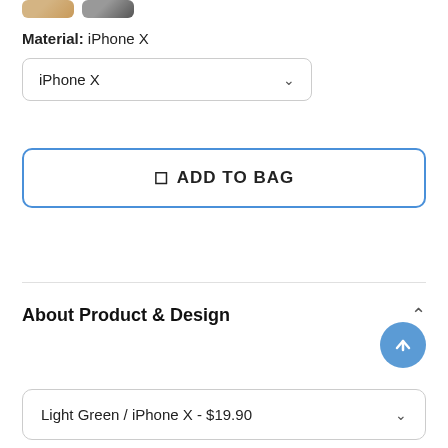[Figure (photo): Two small product thumbnail images at top left]
Material: iPhone X
iPhone X (dropdown selector)
ADD TO BAG (button)
About Product & Design
Light Green / iPhone X - $19.90 (bottom dropdown)